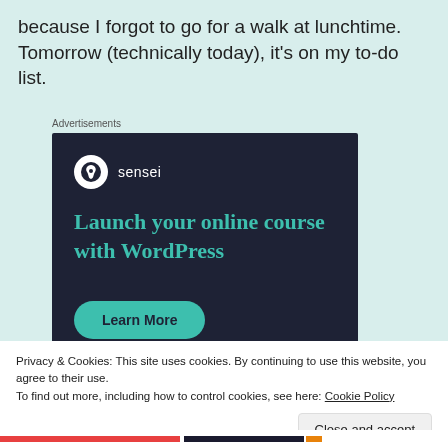because I forgot to go for a walk at lunchtime. Tomorrow (technically today), it's on my to-do list.
[Figure (screenshot): Advertisement banner for Sensei plugin with dark background, showing logo, headline 'Launch your online course with WordPress', and a teal 'Learn More' button]
Privacy & Cookies: This site uses cookies. By continuing to use this website, you agree to their use.
To find out more, including how to control cookies, see here: Cookie Policy
Close and accept